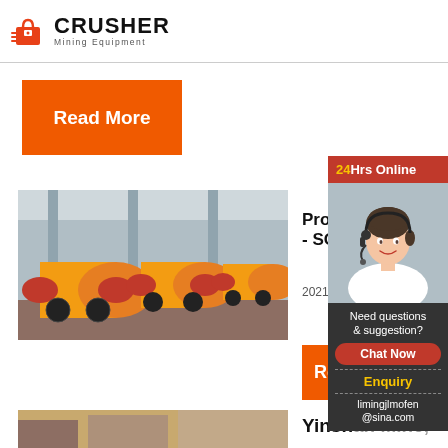CRUSHER Mining Equipment
Read More
[Figure (photo): Large yellow industrial ball mills lined up in a factory warehouse]
Prosp - SGU
2021-3-3
Read
[Figure (photo): Mining or excavation equipment at a mine site]
Yinshan Mine,
[Figure (photo): Customer service representative with headset - 24Hrs Online sidebar]
24Hrs Online
Need questions & suggestion?
Chat Now
Enquiry
limingjlmofen@sina.com